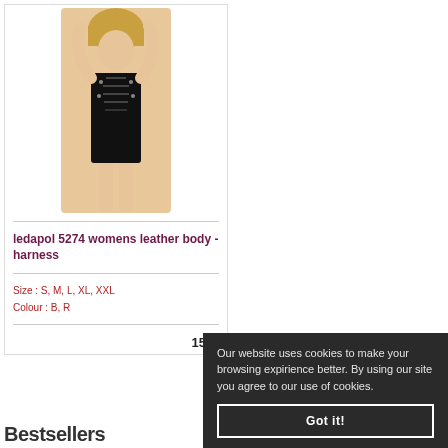[Figure (photo): A woman wearing a black leather body harness with lace-up and stud details, posing with arms raised.]
ledapol 5274 womens leather body - harness
Size : S, M, L, XL, XXL
Colour : B, R
153
Bestsellers
Our website uses cookies to make your browsing expirience better. By using our site you agree to our use of cookies.
Got it!